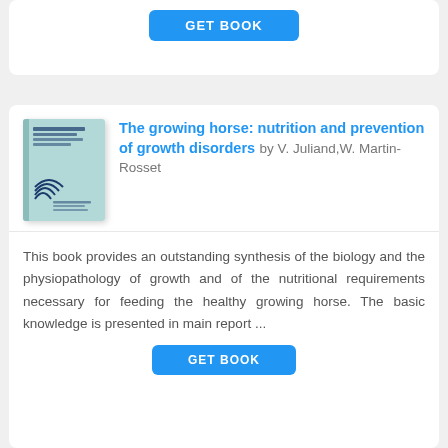[Figure (other): GET BOOK button (blue rounded rectangle) at top of page, partial card visible]
[Figure (illustration): Book cover thumbnail for 'The growing horse: nutrition and prevention of growth disorders' - light teal/green cover with small text and a wave logo]
The growing horse: nutrition and prevention of growth disorders by V. Juliand,W. Martin-Rosset
This book provides an outstanding synthesis of the biology and the physiopathology of growth and of the nutritional requirements necessary for feeding the healthy growing horse. The basic knowledge is presented in main report ...
[Figure (other): GET BOOK button (blue rounded rectangle) at bottom, partially visible]